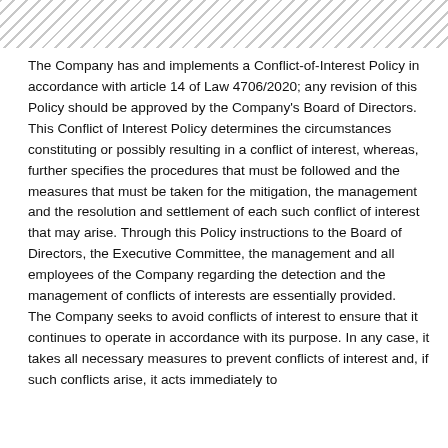[Figure (other): Diagonal hatching stripe pattern used as a decorative header bar]
The Company has and implements a Conflict-of-Interest Policy in accordance with article 14 of Law 4706/2020; any revision of this Policy should be approved by the Company's Board of Directors. This Conflict of Interest Policy determines the circumstances constituting or possibly resulting in a conflict of interest, whereas, further specifies the procedures that must be followed and the measures that must be taken for the mitigation, the management and the resolution and settlement of each such conflict of interest that may arise. Through this Policy instructions to the Board of Directors, the Executive Committee, the management and all employees of the Company regarding the detection and the management of conflicts of interests are essentially provided.
The Company seeks to avoid conflicts of interest to ensure that it continues to operate in accordance with its purpose. In any case, it takes all necessary measures to prevent conflicts of interest and, if such conflicts arise, it acts immediately to